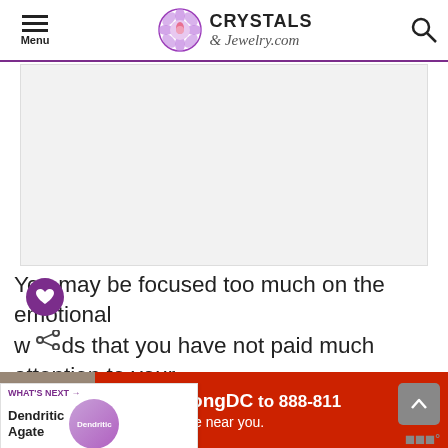Menu | Crystals & Jewelry.com
[Figure (other): Advertisement placeholder rectangle (gray/white area)]
You may be focused too much on the emotional w ds that you have not paid much attention to your spiritual ones.
WHAT'S NEXT → Dendritic Agate
These are the wounds that affect your overall aura and
[Figure (other): Advertisement banner: Text LiveLongDC to 888-811 to find naloxone near you.]